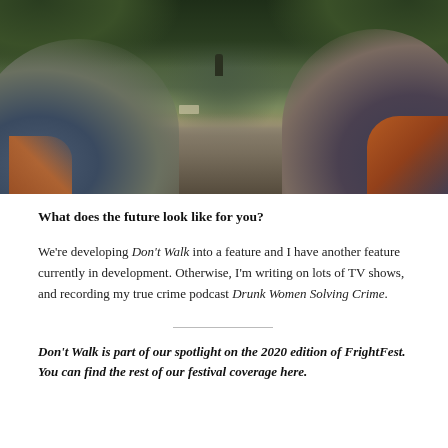[Figure (photo): A film still from Don't Walk showing two blurred foreground figures in winter clothing facing each other, with a distant lone figure standing in a muddy forest clearing surrounded by trees.]
What does the future look like for you?
We're developing Don't Walk into a feature and I have another feature currently in development. Otherwise, I'm writing on lots of TV shows, and recording my true crime podcast Drunk Women Solving Crime.
Don't Walk is part of our spotlight on the 2020 edition of FrightFest. You can find the rest of our festival coverage here.